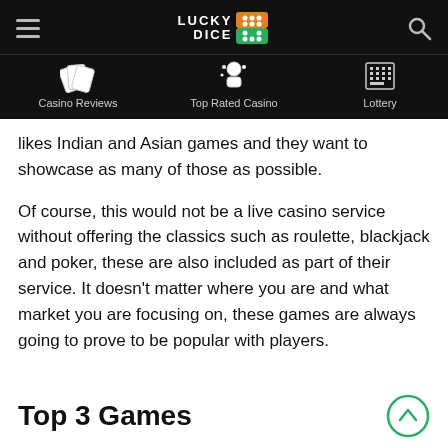Lucky Dice — Casino Reviews | Top Rated Casino | Lottery
likes Indian and Asian games and they want to showcase as many of those as possible.
Of course, this would not be a live casino service without offering the classics such as roulette, blackjack and poker, these are also included as part of their service. It doesn't matter where you are and what market you are focusing on, these games are always going to prove to be popular with players.
Top 3 Games